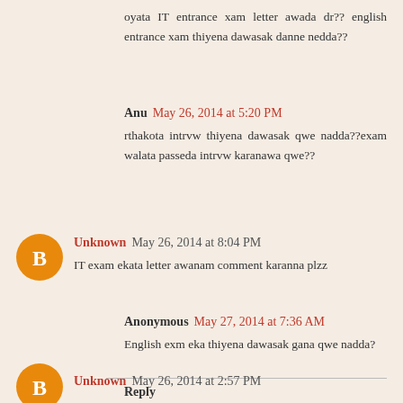oyata IT entrance xam letter awada dr?? english entrance xam thiyena dawasak danne nedda??
Anu May 26, 2014 at 5:20 PM
rthakota intrvw thiyena dawasak qwe nadda??exam walata passeda intrvw karanawa qwe??
Unknown May 26, 2014 at 8:04 PM
IT exam ekata letter awanam comment karanna plzz
Anonymous May 27, 2014 at 7:36 AM
English exm eka thiyena dawasak gana qwe nadda?
Reply
Unknown May 26, 2014 at 2:57 PM